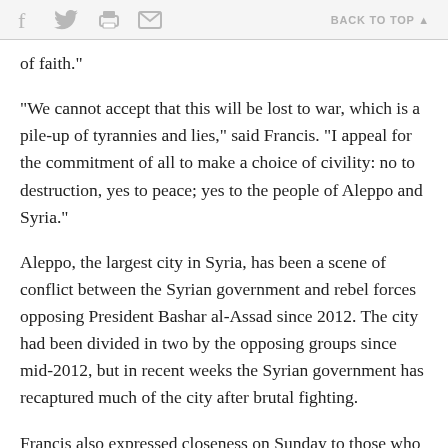f [twitter] [print] [mail]  BACK TO TOP ▲
of faith."
"We cannot accept that this will be lost to war, which is a pile-up of tyrannies and lies," said Francis. "I appeal for the commitment of all to make a choice of civility: no to destruction, yes to peace; yes to the people of Aleppo and Syria."
Aleppo, the largest city in Syria, has been a scene of conflict between the Syrian government and rebel forces opposing President Bashar al-Assad since 2012. The city had been divided in two by the opposing groups since mid-2012, but in recent weeks the Syrian government has recaptured much of the city after brutal fighting.
Francis also expressed closeness on Sunday to those who have experienced terrorist attacks in different